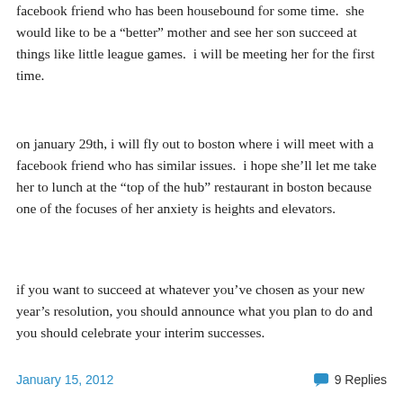facebook friend who has been housebound for some time.  she would like to be a "better" mother and see her son succeed at things like little league games.  i will be meeting her for the first time.
on january 29th, i will fly out to boston where i will meet with a facebook friend who has similar issues.  i hope she'll let me take her to lunch at the "top of the hub" restaurant in boston because one of the focuses of her anxiety is heights and elevators.
if you want to succeed at whatever you've chosen as your new year's resolution, you should announce what you plan to do and you should celebrate your interim successes.
January 15, 2012   9 Replies